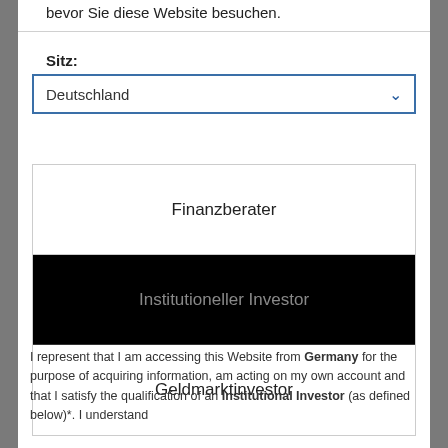bevor Sie diese Website besuchen.
Sitz:
Deutschland
Finanzberater
Institutioneller Investor
Geldmarktinvestor
I represent that I am accessing this Website from Germany for the purpose of acquiring information, am acting on my own account and that I satisfy the qualification of an Institutional Investor (as defined below)*. I understand